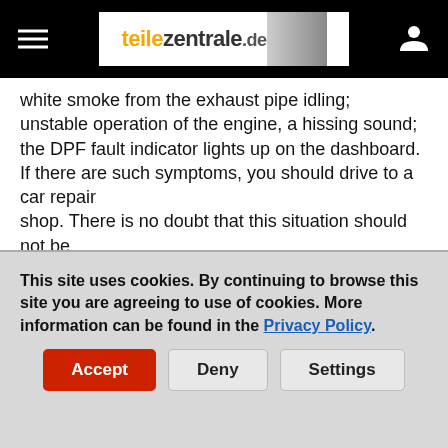teilezentrale.de
white smoke from the exhaust pipe idling; unstable operation of the engine, a hissing sound; the DPF fault indicator lights up on the dashboard. If there are such symptoms, you should drive to a car repair shop. There is no doubt that this situation should not be trivialized.
DPF broken - causes
Many drivers who have already diagnosed a DPF broken think about the causes of such problems. In most cases these are the following factors:
This site uses cookies. By continuing to browse this site you are agreeing to use of cookies. More information can be found in the Privacy Policy.